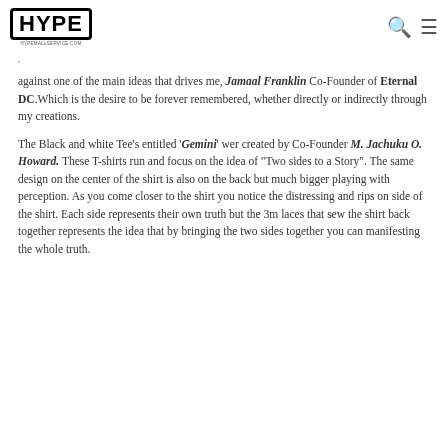HYPE
against one of the main ideas that drives me, Jamaal Franklin Co-Founder of Eternal DC.Which is the desire to be forever remembered, whether directly or indirectly through my creations.
The Black and white Tee's entitled 'Gemini' wer created by Co-Founder M. Jachuku O. Howard. These T-shirts run and focus on the idea of "Two sides to a Story". The same design on the center of the shirt is also on the back but much bigger playing with perception. As you come closer to the shirt you notice the distressing and rips on side of the shirt. Each side represents their own truth but the 3m laces that sew the shirt back together represents the idea that by bringing the two sides together you can manifesting the whole truth.